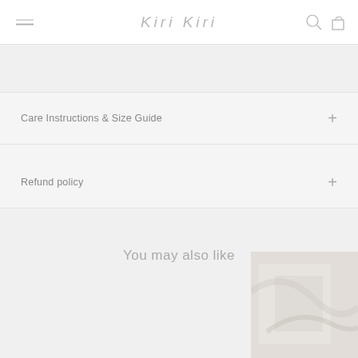Kiri Kiri
Care Instructions & Size Guide
Refund policy
You may also like
[Figure (photo): Partial view of a white/marble-toned product image in the bottom-right corner]